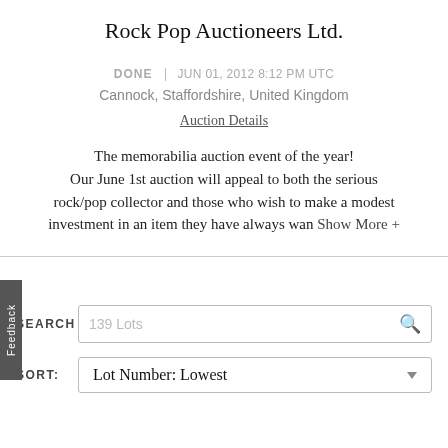Rock Pop Auctioneers Ltd.
DONE | JUN 01, 2012 8:12 PM UTC
Cannock, Staffordshire, United Kingdom
Auction Details
The memorabilia auction event of the year! Our June 1st auction will appeal to both the serious rock/pop collector and those who wish to make a modest investment in an item they have always wan Show More +
SEARCH 139 Lots
SORT: Lot Number: Lowest